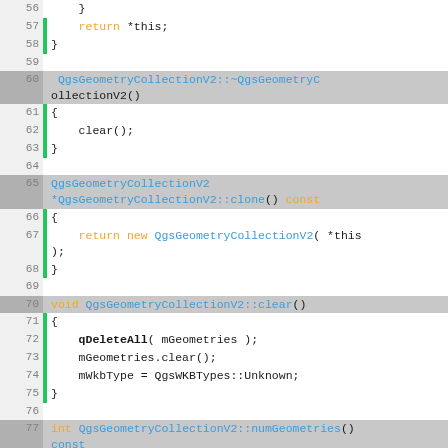[Figure (screenshot): Source code viewer showing C++ code for QgsGeometryCollectionV2 class methods, lines 56-84, with line numbers, green change indicators, and syntax highlighting (orange keywords, blue identifiers).]